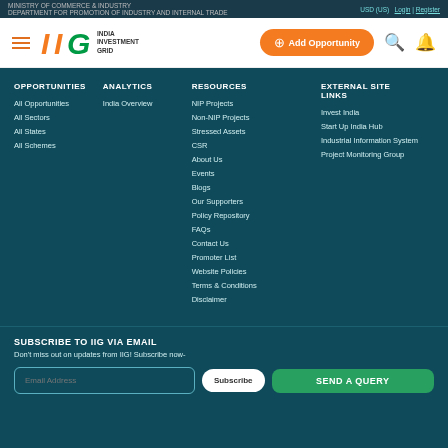MINISTRY OF COMMERCE & INDUSTRY DEPARTMENT FOR PROMOTION OF INDUSTRY AND INTERNAL TRADE | USD (US) | Login | Register
[Figure (logo): India Investment Grid (IIG) logo with orange and green stylized letters and Add Opportunity button, search and bell icons]
OPPORTUNITIES
All Opportunities
All Sectors
All States
All Schemes
ANALYTICS
India Overview
RESOURCES
NIP Projects
Non-NIP Projects
Stressed Assets
CSR
About Us
Events
Blogs
Our Supporters
Policy Repository
FAQs
Contact Us
Promoter List
Website Policies
Terms & Conditions
Disclaimer
EXTERNAL SITE LINKS
Invest India
Start Up India Hub
Industrial Information System
Project Monitoring Group
SUBSCRIBE TO IIG VIA EMAIL
Don't miss out on updates from IIG! Subscribe now-